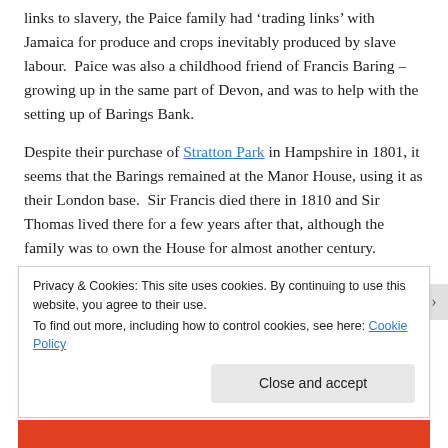links to slavery, the Paice family had 'trading links' with Jamaica for produce and crops inevitably produced by slave labour. Paice was also a childhood friend of Francis Baring – growing up in the same part of Devon, and was to help with the setting up of Barings Bank.
Despite their purchase of Stratton Park in Hampshire in 1801, it seems that the Barings remained at the Manor House, using it as their London base. Sir Francis died there in 1810 and Sir Thomas lived there for a few years after that, although the family was to own the House for almost another century.
Privacy & Cookies: This site uses cookies. By continuing to use this website, you agree to their use.
To find out more, including how to control cookies, see here: Cookie Policy
Close and accept